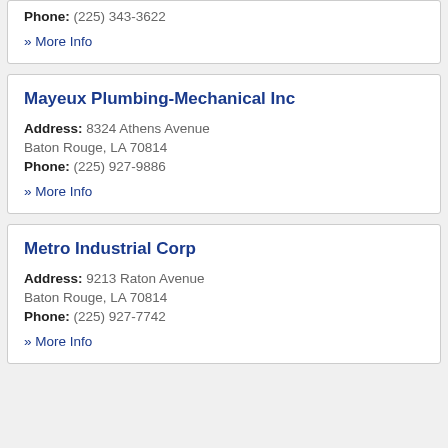Phone: (225) 343-3622
» More Info
Mayeux Plumbing-Mechanical Inc
Address: 8324 Athens Avenue Baton Rouge, LA 70814
Phone: (225) 927-9886
» More Info
Metro Industrial Corp
Address: 9213 Raton Avenue Baton Rouge, LA 70814
Phone: (225) 927-7742
» More Info